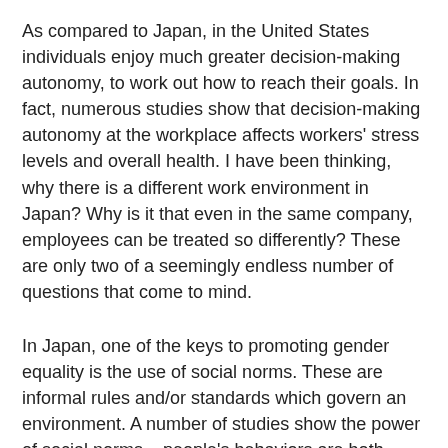As compared to Japan, in the United States individuals enjoy much greater decision-making autonomy, to work out how to reach their goals. In fact, numerous studies show that decision-making autonomy at the workplace affects workers' stress levels and overall health. I have been thinking, why there is a different work environment in Japan? Why is it that even in the same company, employees can be treated so differently? These are only two of a seemingly endless number of questions that come to mind.
In Japan, one of the keys to promoting gender equality is the use of social norms. These are informal rules and/or standards which govern an environment. A number of studies show the power of social norms – people's behaviors are both consciously and unconsciously based on them. Japanese tend to give great consideration to what other people think—thus, the influence of social norms can be stronger than in other cultures.